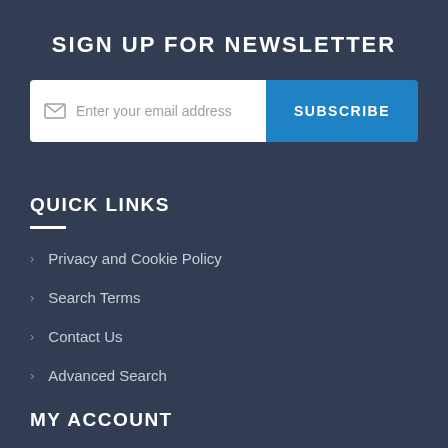SIGN UP FOR NEWSLETTER
[Figure (other): Email subscription form with input field showing placeholder text 'Enter your email address' and a blue SUBSCRIBE button]
QUICK LINKS
> Privacy and Cookie Policy
> Search Terms
> Contact Us
> Advanced Search
MY ACCOUNT